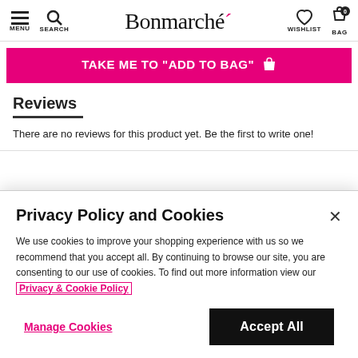MENU | SEARCH | Bonmarché | WISHLIST | BAG 0
[Figure (screenshot): Pink banner button with text: TAKE ME TO "ADD TO BAG" with a shopping bag icon]
Reviews
There are no reviews for this product yet. Be the first to write one!
Privacy Policy and Cookies
We use cookies to improve your shopping experience with us so we recommend that you accept all. By continuing to browse our site, you are consenting to our use of cookies. To find out more information view our Privacy & Cookie Policy
Manage Cookies | Accept All